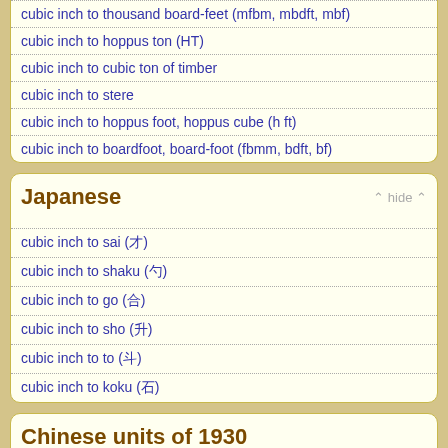cubic inch to thousand board-feet (mfbm, mbdft, mbf)
cubic inch to hoppus ton (HT)
cubic inch to cubic ton of timber
cubic inch to stere
cubic inch to hoppus foot, hoppus cube (h ft)
cubic inch to boardfoot, board-foot (fbmm, bdft, bf)
Japanese
cubic inch to sai (才)
cubic inch to shaku (勺)
cubic inch to go (合)
cubic inch to sho (升)
cubic inch to to (斗)
cubic inch to koku (石)
Chinese units of 1930